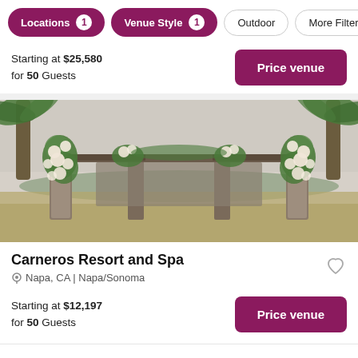Locations 1 | Venue Style 1 | Outdoor | More Filters
Starting at $25,580 for 50 Guests
Price venue
[Figure (photo): Outdoor wedding venue with a floral-adorned pergola archway decorated with white roses and greenery, flanked by palm trees, with a vineyard landscape in the background.]
Carneros Resort and Spa
Napa, CA | Napa/Sonoma
Starting at $12,197 for 50 Guests
Price venue